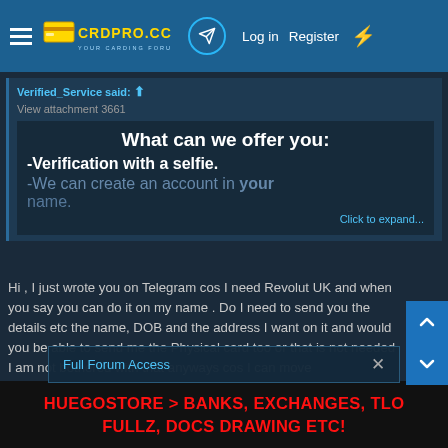CRDPRO.CC — YOUR CARDING FORUM | Log in | Register
Verified_Service said: ↑
View attachment 3661
What can we offer you:
-Verification with a selfie.
-We can create an account in your name.
Click to expand...
Hi , I just wrote you on Telegram cos I need Revolut UK and when you say you can do it on my name . Do I need to send you the details etc the name, DOB and the address I want on it and would you be able to send me the Physical card too or that is not needed I am not bothered with that anyways cos I can move
Full Forum Access
HUEGOSTORE > BANKS, EXCHANGES, TLO, FULLZ, DOCS DRAWING ETC!